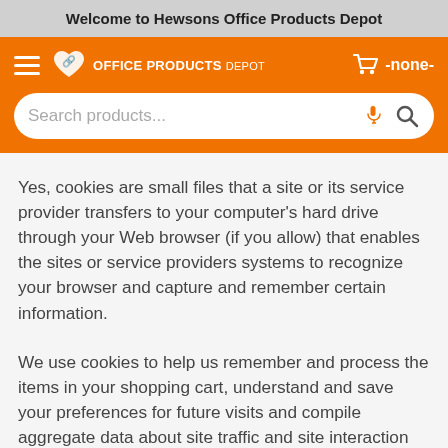Welcome to Hewsons Office Products Depot
[Figure (screenshot): Orange navigation header with hamburger menu, Office Products Depot logo, cart icon showing -none-, and a search bar with placeholder 'Search products...' with microphone and search icons]
Yes, cookies are small files that a site or its service provider transfers to your computer's hard drive through your Web browser (if you allow) that enables the sites or service providers systems to recognize your browser and capture and remember certain information.
We use cookies to help us remember and process the items in your shopping cart, understand and save your preferences for future visits and compile aggregate data about site traffic and site interaction